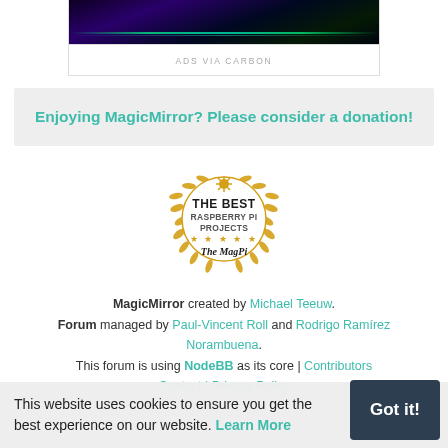[Figure (screenshot): Ad image with dark sci-fi background showing landscape with neon colors]
ADS VIA CARBON
Enjoying MagicMirror? Please consider a donation!
[Figure (logo): The Best Raspberry Pi Projects badge - The MagPi magazine gold laurel wreath badge]
MagicMirror created by Michael Teeuw. Forum managed by Paul-Vincent Roll and Rodrigo Ramírez Norambuena. This forum is using NodeBB as its core | Contributors
Contact | Privacy Policy
This website uses cookies to ensure you get the best experience on our website. Learn More